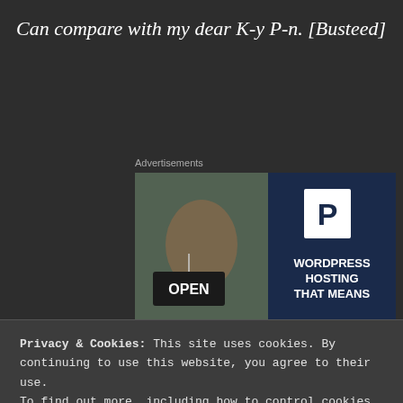Can compare with my dear K-y P-n. [Busteed]
Advertisements
[Figure (photo): Advertisement showing a woman holding an OPEN sign on the left side, and a WordPress hosting promotion on the right side with a P logo and text 'WORDPRESS HOSTING THAT MEANS']
Privacy & Cookies: This site uses cookies. By continuing to use this website, you agree to their use.
To find out more, including how to control cookies, see here: Cookie Policy
Close and accept